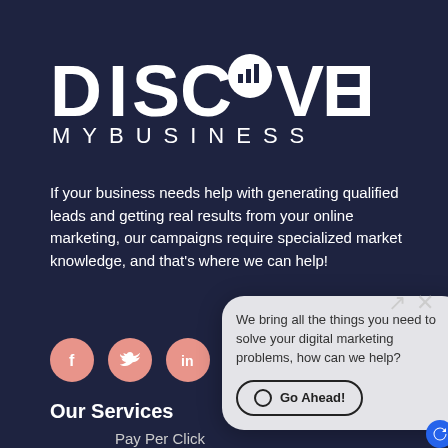[Figure (logo): Discover My Business logo — white text with a map-pin/bar-chart icon replacing the letter O in DISCOVER]
If your business needs help with generating qualified leads and getting real results from your online marketing, our campaigns require specialized market knowledge, and that's where we can help!
[Figure (infographic): Row of social media icon circles (Facebook, Twitter, LinkedIn, Pinterest) in salmon/pink color]
Our Services
Pay Per Click
[Figure (screenshot): Chat popup widget with message: We bring all the things you need to solve your digital marketing problems, how can we help? and a Go Ahead! button. Expand and close icons visible top right.]